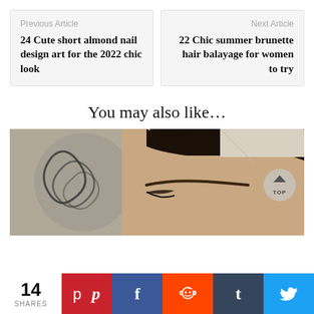Previous Article
24 Cute short almond nail design art for the 2022 chic look
Next Article
22 Chic summer brunette hair balayage for women to try
You may also like…
[Figure (photo): Close-up photo of a woman's face showing sleek hair pulled back and groomed eyebrows, with a decorative wall art piece visible in the background. A 'TOP' scroll button overlay appears on the right side.]
14 SHARES